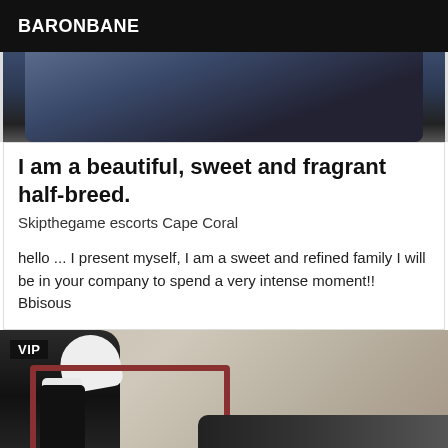BARONBANE
[Figure (photo): Partial photo showing dark clothing/fabric against dark background, top portion of a listing card image]
I am a beautiful, sweet and fragrant half-breed.
Skipthegame escorts Cape Coral
hello ... I present myself, I am a sweet and refined family I will be in your company to spend a very intense moment!! Bbisous
[Figure (photo): VIP tagged photo showing a person's legs in dark clothing and white socks, with a red-framed mirror on the floor reflecting another person with blonde hair]